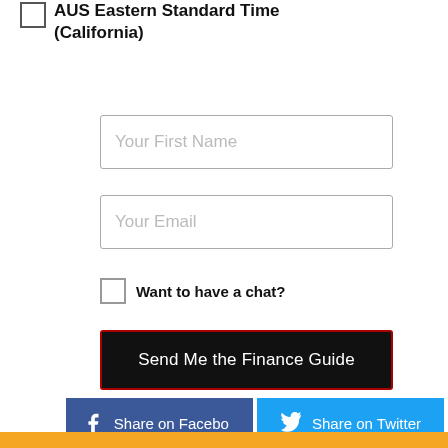AUS Eastern Standard Time (California)
Your First Name
Your Email
Want to have a chat?
Send Me the Finance Guide
Share on Facebook
Share on Twitter